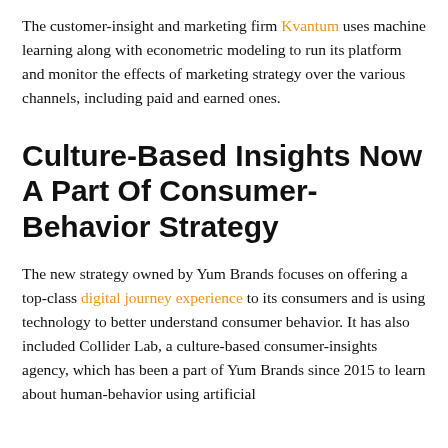The customer-insight and marketing firm Kvantum uses machine learning along with econometric modeling to run its platform and monitor the effects of marketing strategy over the various channels, including paid and earned ones.
Culture-Based Insights Now A Part Of Consumer-Behavior Strategy
The new strategy owned by Yum Brands focuses on offering a top-class digital journey experience to its consumers and is using technology to better understand consumer behavior. It has also included Collider Lab, a culture-based consumer-insights agency, which has been a part of Yum Brands since 2015 to learn about human-behavior using artificial